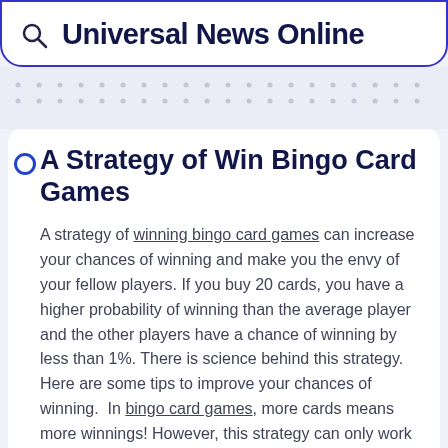Universal News Online
A Strategy of Win Bingo Card Games
A strategy of winning bingo card games can increase your chances of winning and make you the envy of your fellow players. If you buy 20 cards, you have a higher probability of winning than the average player and the other players have a chance of winning by less than 1%. There is science behind this strategy. Here are some tips to improve your chances of winning. In bingo card games, more cards means more winnings! However, this strategy can only work if you can handle more cards